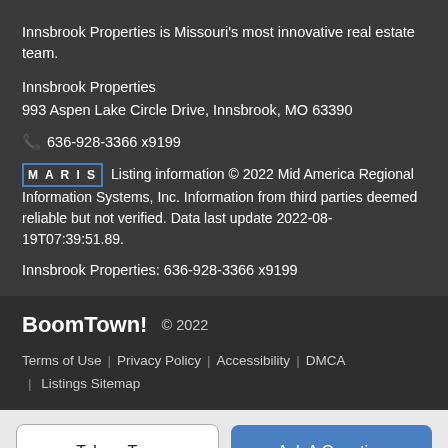Innsbrook Properties is Missouri's most innovative real estate team.
Innsbrook Properties
993 Aspen Lake Circle Drive, Innsbrook, MO 63390
636-928-3366 x9199
MARIS Listing information © 2022 Mid America Regional Information Systems, Inc. Information from third parties deemed reliable but not verified. Data last update 2022-08-19T07:39:51.89.
Innsbrook Properties: 636-928-3366 x9199
BoomTown! © 2022
Terms of Use | Privacy Policy | Accessibility | DMCA | Listings Sitemap
Take a Tour
Ask A Question